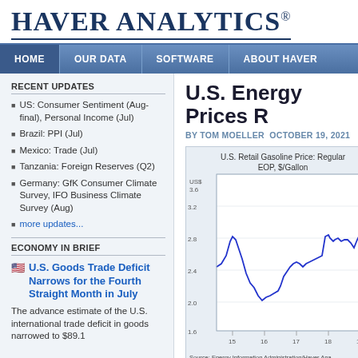HAVER ANALYTICS®
HOME | OUR DATA | SOFTWARE | ABOUT HAVER
RECENT UPDATES
US: Consumer Sentiment (Aug-final), Personal Income (Jul)
Brazil: PPI (Jul)
Mexico: Trade (Jul)
Tanzania: Foreign Reserves (Q2)
Germany: GfK Consumer Climate Survey, IFO Business Climate Survey (Aug)
more updates...
ECONOMY IN BRIEF
U.S. Goods Trade Deficit Narrows for the Fourth Straight Month in July
The advance estimate of the U.S. international trade deficit in goods narrowed to $89.1
U.S. Energy Prices R
BY TOM MOELLER  OCTOBER 19, 2021
[Figure (line-chart): Line chart showing U.S. retail gasoline price from approximately 2014 to 2019, with values ranging from about 1.6 to 3.6 US$/Gallon. The line shows cyclical peaks and troughs.]
Source: Energy Information Administration/Haver Ana...